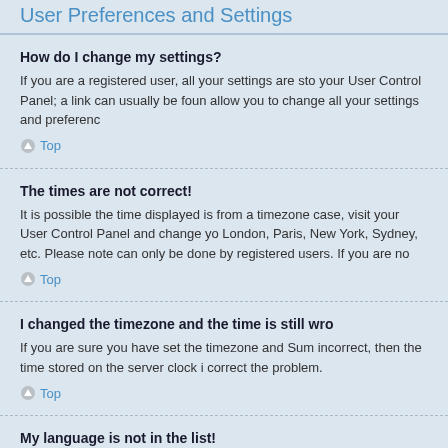User Preferences and Settings
How do I change my settings?
If you are a registered user, all your settings are stored in your User Control Panel; a link can usually be found allow you to change all your settings and preferences.
Top
The times are not correct!
It is possible the time displayed is from a timezone case, visit your User Control Panel and change your London, Paris, New York, Sydney, etc. Please note can only be done by registered users. If you are not
Top
I changed the timezone and the time is still wro
If you are sure you have set the timezone and Summer incorrect, then the time stored on the server clock is correct the problem.
Top
My language is not in the list!